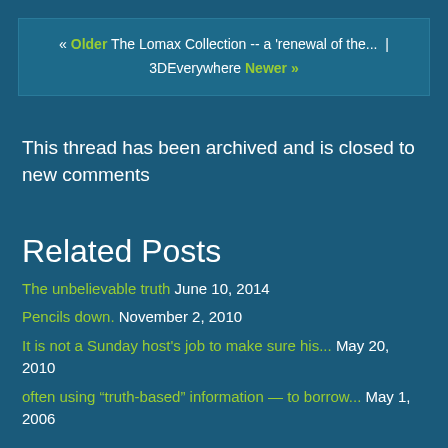« Older The Lomax Collection -- a 'renewal of the... | 3DEverywhere Newer »
This thread has been archived and is closed to new comments
Related Posts
The unbelievable truth June 10, 2014
Pencils down. November 2, 2010
It is not a Sunday host's job to make sure his... May 20, 2010
often using “truth-based” information — to borrow... May 1, 2006